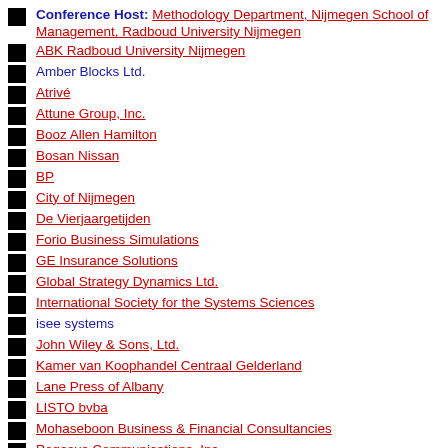Conference Host: Methodology Department, Nijmegen School of Management, Radboud University Nijmegen
ABK Radboud University Nijmegen
Amber Blocks Ltd.
Atrivé
Attune Group, Inc.
Booz Allen Hamilton
Bosan Nissan
BP
City of Nijmegen
De Vierjaargetijden
Forio Business Simulations
GE Insurance Solutions
Global Strategy Dynamics Ltd.
International Society for the Systems Sciences
isee systems
John Wiley & Sons, Ltd.
Kamer van Koophandel Centraal Gelderland
Lane Press of Albany
LISTO bvba
Mohaseboon Business & Financial Consultancies
Pegasus Communications, Inc.
Powersim Solutions, Inc.
Significant BV